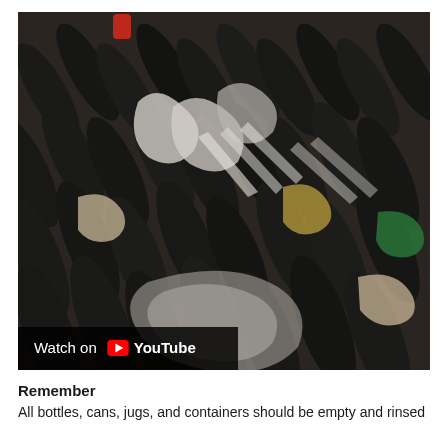[Figure (photo): Close-up photo of a large pile of recycling materials including dark bottles, plastic bags, and various containers mixed together on what appears to be a conveyor or sorting surface. A YouTube video overlay appears in the bottom-left corner with 'Watch on YouTube' text.]
Remember
All bottles, cans, jugs, and containers should be empty and rinsed